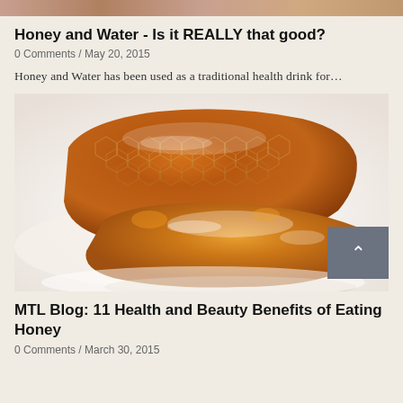[Figure (photo): Partial top strip showing a cropped image, likely a person or food photo]
Honey and Water - Is it REALLY that good?
0 Comments / May 20, 2015
Honey and Water has been used as a traditional health drink for…
[Figure (photo): Close-up photo of raw honeycomb pieces with golden amber honey on a white plate]
MTL Blog: 11 Health and Beauty Benefits of Eating Honey
0 Comments / March 30, 2015